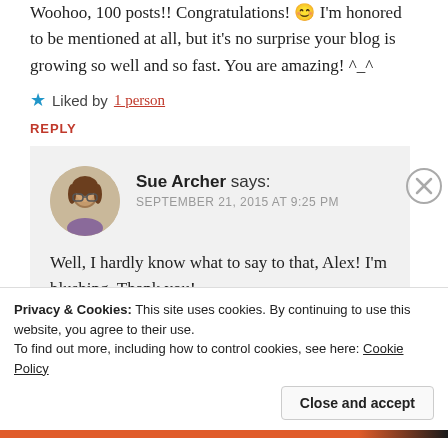Woohoo, 100 posts!! Congratulations! 😊 I'm honored to be mentioned at all, but it's no surprise your blog is growing so well and so fast. You are amazing! ^_^
★ Liked by 1 person
REPLY
Sue Archer says: SEPTEMBER 21, 2015 AT 9:25 PM
Well, I hardly know what to say to that, Alex! I'm blushing. Thank you!
Privacy & Cookies: This site uses cookies. By continuing to use this website, you agree to their use. To find out more, including how to control cookies, see here: Cookie Policy
Close and accept